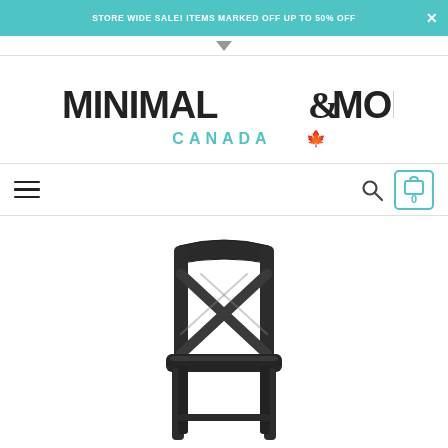STORE WIDE SALE! ITEMS MARKED OFF UP TO 50% OFF
[Figure (logo): Minimal & Modern Canada logo with maple leaf]
[Figure (photo): Dark metal cross-back dining chair, photographed from slightly above, showing the X-shaped back support and rounded seat]